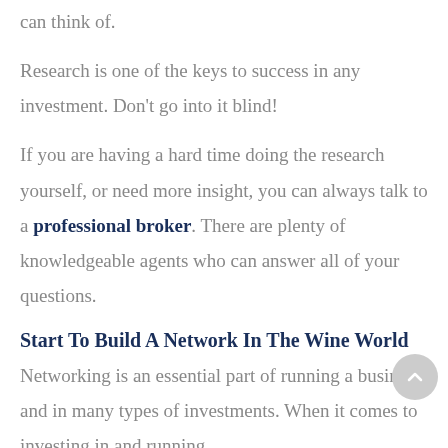can think of.
Research is one of the keys to success in any investment. Don't go into it blind!
If you are having a hard time doing the research yourself, or need more insight, you can always talk to a professional broker. There are plenty of knowledgeable agents who can answer all of your questions.
Start To Build A Network In The Wine World
Networking is an essential part of running a business and in many types of investments. When it comes to investing in and running